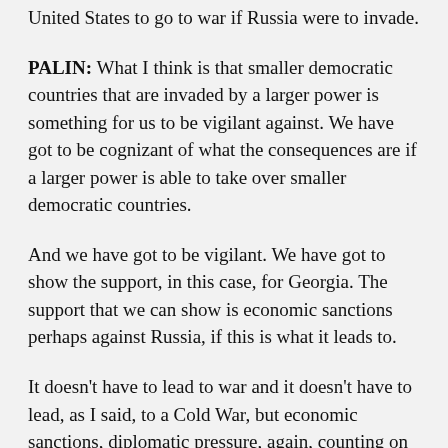United States to go to war if Russia were to invade.
PALIN: What I think is that smaller democratic countries that are invaded by a larger power is something for us to be vigilant against. We have got to be cognizant of what the consequences are if a larger power is able to take over smaller democratic countries.
And we have got to be vigilant. We have got to show the support, in this case, for Georgia. The support that we can show is economic sanctions perhaps against Russia, if this is what it leads to.
It doesn't have to lead to war and it doesn't have to lead, as I said, to a Cold War, but economic sanctions, diplomatic pressure, again, counting on our allies to help us do that in this mission of